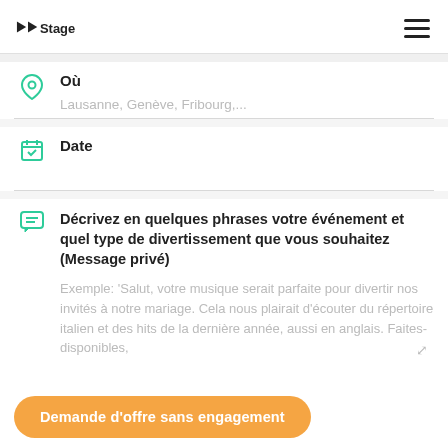DDStagend.com
Où
Lausanne, Genève, Fribourg,...
Date
Décrivez en quelques phrases votre événement et quel type de divertissement que vous souhaitez (Message privé)
Exemple: 'Salut, votre musique serait parfaite pour divertir nos invités à notre mariage. Cela nous plairait d'écouter du répertoire italien et des hits de la dernière année, aussi en anglais. Faites- disponibles,
Demande d'offre sans engagement